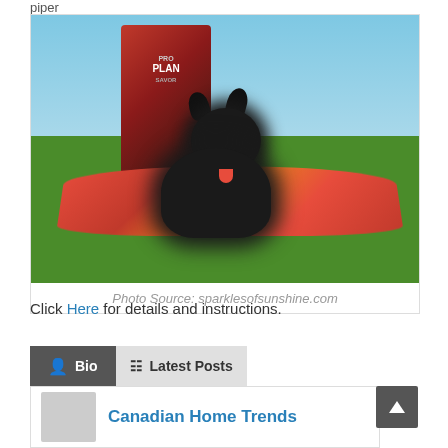piper
[Figure (photo): Black Pomeranian dog lying on a colorful red hammock outdoors, with a bag of Pro Plan dog food visible in the background on grass]
Photo Source: sparklesofsunshine.com
Click Here for details and instructions.
Bio | Latest Posts
Canadian Home Trends